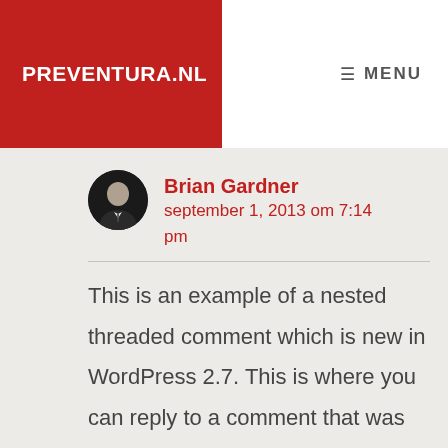PREVENTURA.NL
≡ MENU
Brian Gardner
september 1, 2013 om 7:14 pm
This is an example of a nested threaded comment which is new in WordPress 2.7. This is where you can reply to a comment that was previously made, and visually makes reading comments to much